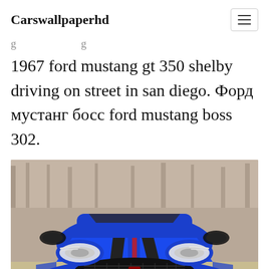Carswallpaperhd
1967 ford mustang gt 350 shelby driving on street in san diego. Форд мустанг босс ford mustang boss 302.
[Figure (photo): Front view of a blue Ford Mustang Shelby GT350 with dark racing stripes and red accent lines, photographed head-on against a blurred outdoor background.]